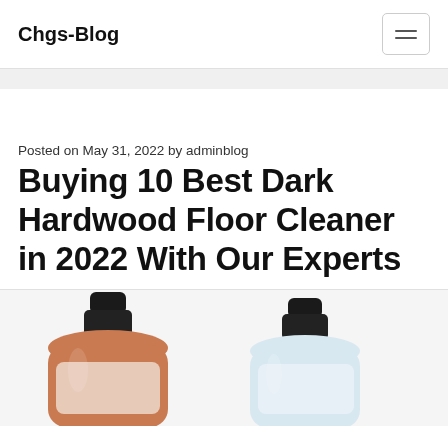Chgs-Blog
Posted on May 31, 2022 by adminblog
Buying 10 Best Dark Hardwood Floor Cleaner in 2022 With Our Experts
[Figure (photo): Two spray/pump bottles of floor cleaner products, partially cropped at the bottom of the page]